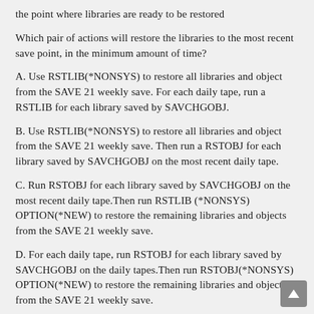the point where libraries are ready to be restored
Which pair of actions will restore the libraries to the most recent save point, in the minimum amount of time?
A. Use RSTLIB(*NONSYS) to restore all libraries and object from the SAVE 21 weekly save. For each daily tape, run a RSTLIB for each library saved by SAVCHGOBJ.
B. Use RSTLIB(*NONSYS) to restore all libraries and object from the SAVE 21 weekly save. Then run a RSTOBJ for each library saved by SAVCHGOBJ on the most recent daily tape.
C. Run RSTOBJ for each library saved by SAVCHGOBJ on the most recent daily tape.Then run RSTLIB (*NONSYS) OPTION(*NEW) to restore the remaining libraries and objects from the SAVE 21 weekly save.
D. For each daily tape, run RSTOBJ for each library saved by SAVCHGOBJ on the daily tapes.Then run RSTOBJ(*NONSYS) OPTION(*NEW) to restore the remaining libraries and objects from the SAVE 21 weekly save.